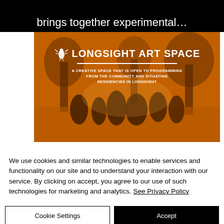brings together experimental…
[Figure (photo): Longsight Art Space promotional banner image with orange-tinted photo of people in a park, featuring the logo with a bee/insect icon, the text 'LONGSIGHT ART SPACE', a divider line, and tagline: 'A CREATIVE SPACE THAT IS OPEN TO PROGRAMMING FROM THE COMMUNITY AND SITUATING RESIDENCIES IN LONGSIGHT']
We use cookies and similar technologies to enable services and functionality on our site and to understand your interaction with our service. By clicking on accept, you agree to our use of such technologies for marketing and analytics. See Privacy Policy
Cookie Settings
Accept